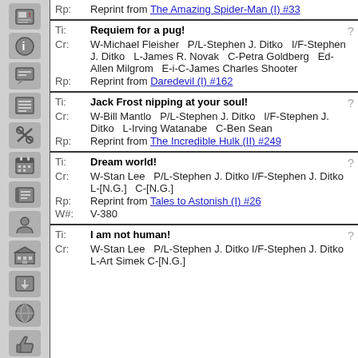| Label | Content | ? |
| --- | --- | --- |
| Rp: | Reprint from The Amazing Spider-Man (I) #33 |  |
| Ti: | Requiem for a pug! | ? |
| Cr: | W-Michael Fleisher   P/L-Stephen J. Ditko   I/F-Stephen J. Ditko   L-James R. Novak   C-Petra Goldberg   Ed-Allen Milgrom   E-i-C-James Charles Shooter |  |
| Rp: | Reprint from Daredevil (I) #162 |  |
| Ti: | Jack Frost nipping at your soul! | ? |
| Cr: | W-Bill Mantlo   P/L-Stephen J. Ditko   I/F-Stephen J. Ditko   L-Irving Watanabe   C-Ben Sean |  |
| Rp: | Reprint from The Incredible Hulk (II) #249 |  |
| Ti: | Dream world! | ? |
| Cr: | W-Stan Lee   P/L-Stephen J. Ditko   I/F-Stephen J. Ditko   L-[N.G.]   C-[N.G.] |  |
| Rp: | Reprint from Tales to Astonish (I) #26 |  |
| W#: | V-380 |  |
| Ti: | I am not human! | ? |
| Cr: | W-Stan Lee   P/L-Stephen J. Ditko   I/F-Stephen J. Ditko   L-Art Simek   C-[N.G.] |  |